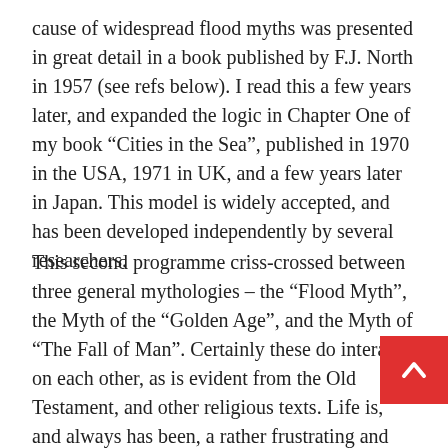cause of widespread flood myths was presented in great detail in a book published by F.J. North in 1957 (see refs below). I read this a few years later, and expanded the logic in Chapter One of my book “Cities in the Sea”, published in 1970 in the USA, 1971 in UK, and a few years later in Japan. This model is widely accepted, and has been developed independently by several researchers.
This second programme criss-crossed between three general mythologies – the “Flood Myth”, the Myth of the “Golden Age”, and the Myth of “The Fall of Man”. Certainly these do interact on each other, as is evident from the Old Testament, and other religious texts. Life is, and always has been, a rather frustrating and puzzling experience. There are good times, but still, most of also experience some pretty nasty things. When th happens we long to know why. Was life always so unjust?